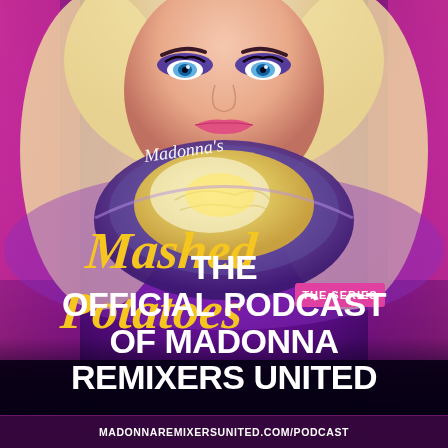[Figure (photo): Promotional poster image showing a glamorous blonde woman with blue eyes, dramatic makeup, holding a plate of mashed potatoes against a purple/pink glowing background. Overlaid script text reads 'Madonna's Mashed Potatoes THE SERIES' in gold/yellow cursive lettering.]
THE OFFICIAL PODCAST OF MADONNA REMIXERS UNITED
MADONNAREMIXERSUNITED.COM/PODCAST